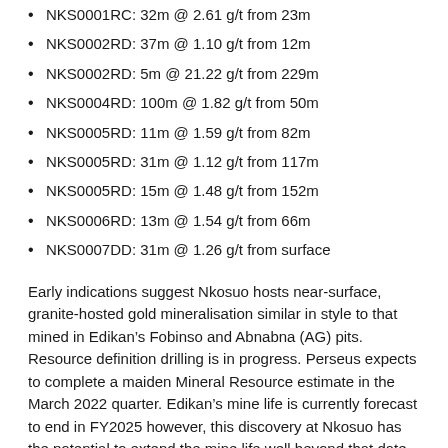NKS0001RC: 32m @ 2.61 g/t from 23m
NKS0002RD: 37m @ 1.10 g/t from 12m
NKS0002RD: 5m @ 21.22 g/t from 229m
NKS0004RD: 100m @ 1.82 g/t from 50m
NKS0005RD: 11m @ 1.59 g/t from 82m
NKS0005RD: 31m @ 1.12 g/t from 117m
NKS0005RD: 15m @ 1.48 g/t from 152m
NKS0006RD: 13m @ 1.54 g/t from 66m
NKS0007DD: 31m @ 1.26 g/t from surface
Early indications suggest Nkosuo hosts near-surface, granite-hosted gold mineralisation similar in style to that mined in Edikan’s Fobinso and Abnabna (AG) pits. Resource definition drilling is in progress. Perseus expects to complete a maiden Mineral Resource estimate in the March 2022 quarter. Edikan’s mine life is currently forecast to end in FY2025 however, this discovery at Nkosuo has the potential to extend the mine life well beyond that date.